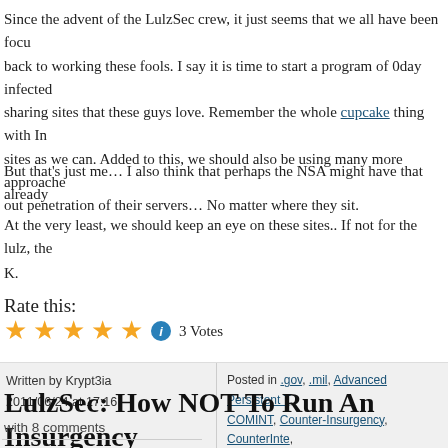Since the advent of the LulzSec crew, it just seems that we all have been focused back to working these fools. I say it is time to start a program of 0day infected sharing sites that these guys love. Remember the whole cupcake thing with In- sites as we can. Added to this, we should also be using many more approaches out penetration of their servers… No matter where they sit.
But that's just me… I also think that perhaps the NSA might have that already
At the very least, we should keep an eye on these sites.. If not for the lulz, the
K.
Rate this:
[Figure (other): 5 gold star rating icons followed by a blue info circle icon and '3 Votes' text]
Written by Krypt3ia
2011/06/24 at 17:16
Posted in .gov, .mil, Advanced Persistent T, COMINT, Counter-Insurgency, CounterInte, Foot Printing, GWOT, Hacking, HUMINT, Ir, Recruitment, OSINT, Propaganda, Psycho, SECOPS, Shahid, SIGINT, Social Enginee
LulzSec: How NOT To Run An Insurgency
with 8 comments